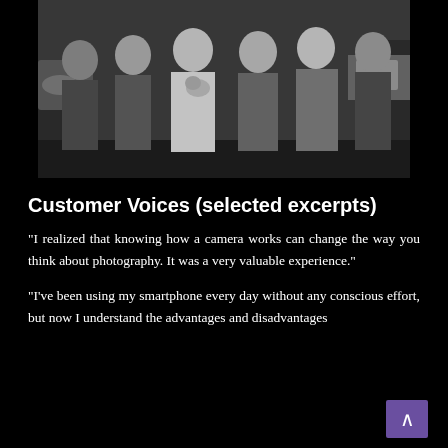[Figure (photo): A black and white group photo of several young people (mostly women) posing together indoors, some holding cameras or small objects, smiling at the camera. A small dog is visible held by one person in the center.]
Customer Voices (selected excerpts)
“I realized that knowing how a camera works can change the way you think about photography. It was a very valuable experience.”
“I’ve been using my smartphone every day without any conscious effort, but now I understand the advantages and disadvantages